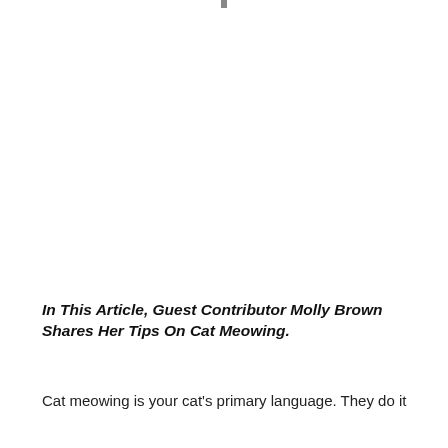In This Article, Guest Contributor Molly Brown Shares Her Tips On Cat Meowing.
Cat meowing is your cat's primary language. They do it